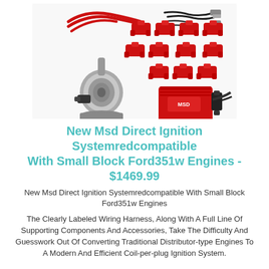[Figure (photo): MSD Direct Ignition System kit components including red ignition coils, wiring harness with black and red wires, a chrome distributor-style sensor, and a red MSD control module with connectors.]
New Msd Direct Ignition Systemredcompatible With Small Block Ford351w Engines - $1469.99
New Msd Direct Ignition Systemredcompatible With Small Block Ford351w Engines
The Clearly Labeled Wiring Harness, Along With A Full Line Of Supporting Components And Accessories, Take The Difficulty And Guesswork Out Of Converting Traditional Distributor-type Engines To A Modern And Efficient Coil-per-plug Ignition System.